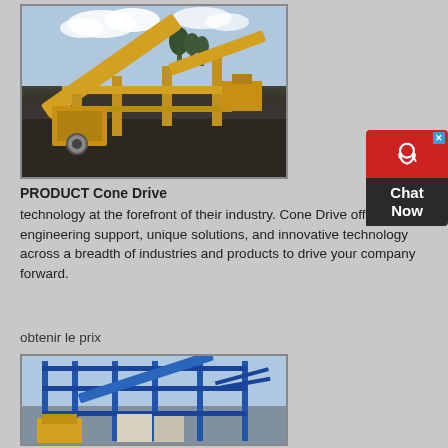[Figure (photo): Large yellow mining/crushing equipment with conveyor belts on a dark gravel site, with trees in the background under a partly cloudy sky.]
PRODUCT Cone Drive
technology at the forefront of their industry. Cone Drive offers engineering support, unique solutions, and innovative technology across a breadth of industries and products to drive your company forward.
obtenir le prix
[Figure (photo): Blue steel frame industrial structure with conveyor belts and yellow crushing equipment, photographed from a low angle against the sky.]